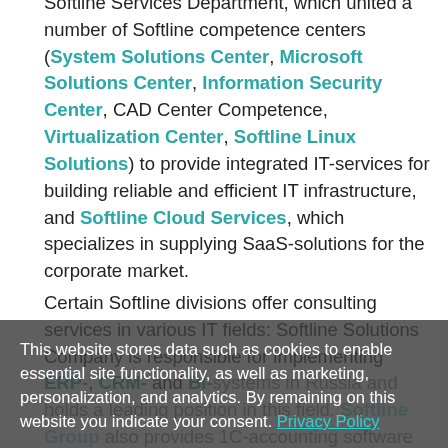Softline Services Department, which united a number of Softline competence centers (System Solutions Center, Microsoft Solutions Center, Information Security Center, CAD Center Competence, Virtualization Center, Softline Linux Solutions) to provide integrated IT-services for building reliable and efficient IT infrastructure, and Softline Cloud Services, which specializes in supplying SaaS-solutions for the corporate market.
Certain Softline divisions offer consulting services in various IT fields: Softline Solutions Company is responsible for implementing ERP-, CRM- and BI-systems in Russia and holds a leading position in this field. Softline Group also provides 1C-accounting software support for software management and SAM implementation, Google Search Solutions Center provides consulting services in election...
This website stores data such as cookies to enable essential site functionality, as well as marketing, personalization, and analytics. By remaining on this website you indicate your consent. Privacy Policy